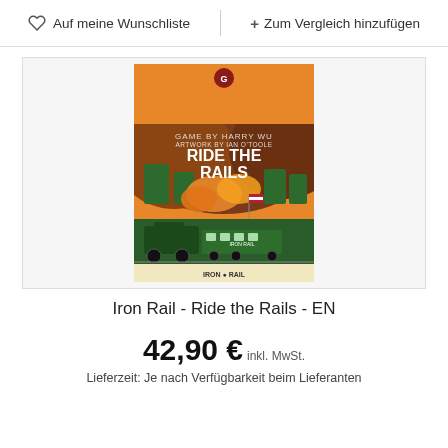Auf meine Wunschliste | + Zum Vergleich hinzufügen
[Figure (photo): Book/board game box cover for 'Ride the Rails' (Iron Rail series) featuring a vintage-style illustration of a steam locomotive with mountains and orange smoke in the background. Text reads: GAME BY HARRY WU, ARTWORK BY IAN O'TOOLE, RIDE THE RAILS, IRON RAIL.]
Iron Rail - Ride the Rails - EN
42,90 € inkl. MwSt.
Lieferzeit: Je nach Verfügbarkeit beim Lieferanten